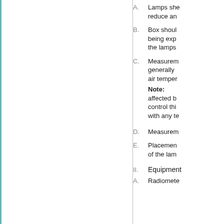A. Lamps she... reduce an...
B. Box shoul... being exp... the lamps...
C. Measurem... generally ... air temper...
Note: affected b... control thi... with any te...
D. Measurem...
E. Placemen... of the lam...
II. Equipment
A. Radiomete...